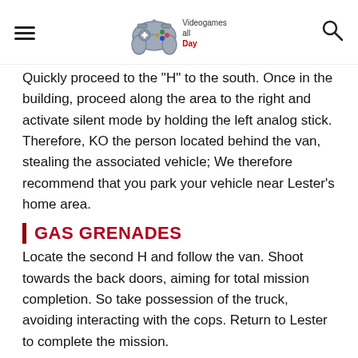Videogames all Day [logo with game controller]
Quickly proceed to the "H" to the south. Once in the building, proceed along the area to the right and activate silent mode by holding the left analog stick. Therefore, KO the person located behind the van, stealing the associated vehicle; We therefore recommend that you park your vehicle near Lester's home area.
GAS GRENADES
Locate the second H and follow the van. Shoot towards the back doors, aiming for total mission completion. So take possession of the truck, avoiding interacting with the cops. Return to Lester to complete the mission.
JEWEL STORE JOB
Having recovered the necessary equipment, proceed to